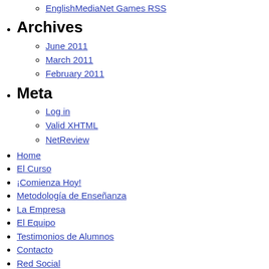EnglishMediaNet Games RSS
Archives
June 2011
March 2011
February 2011
Meta
Log in
Valid XHTML
NetReview
Home
El Curso
¡Comienza Hoy!
Metodología de Enseñanza
La Empresa
El Equipo
Testimonios de Alumnos
Contacto
Red Social